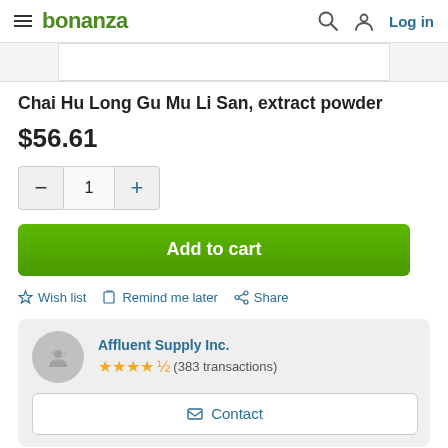bonanza — Log in
Chai Hu Long Gu Mu Li San, extract powder
$56.61
Quantity selector: − 1 +
Add to cart
☆ Wish list  Remind me later  Share
Affluent Supply Inc. ★★★★½ (383 transactions)
✉ Contact